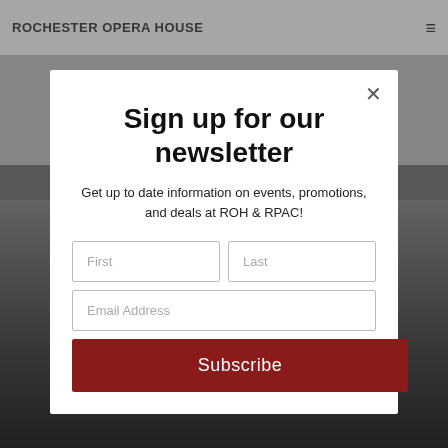ROCHESTER OPERA HOUSE
Sign up for our newsletter
Get up to date information on events, promotions, and deals at ROH & RPAC!
First
Last
Email Address
Subscribe